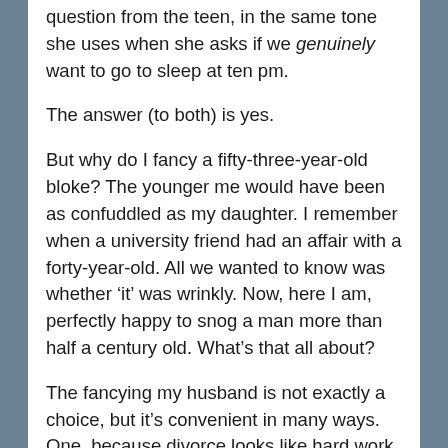question from the teen, in the same tone she uses when she asks if we genuinely want to go to sleep at ten pm.
The answer (to both) is yes.
But why do I fancy a fifty-three-year-old bloke? The younger me would have been as confuddled as my daughter. I remember when a university friend had an affair with a forty-year-old. All we wanted to know was whether ‘it’ was wrinkly. Now, here I am, perfectly happy to snog a man more than half a century old. What’s that all about?
The fancying my husband is not exactly a choice, but it’s convenient in many ways. One, because divorce looks like hard work, and two, if I was still attracted to boys the same age as I